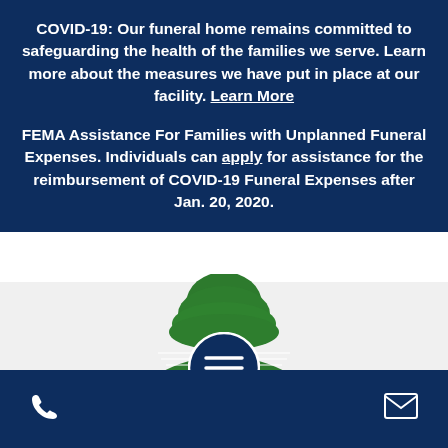COVID-19: Our funeral home remains committed to safeguarding the health of the families we serve. Learn more about the measures we have put in place at our facility. Learn More
FEMA Assistance For Families with Unplanned Funeral Expenses. Individuals can apply for assistance for the reimbursement of COVID-19 Funeral Expenses after Jan. 20, 2020.
[Figure (logo): Forest Hill Funeral Home and Memorial Park logo with a large green tree above horizontal lines forming a hill shape]